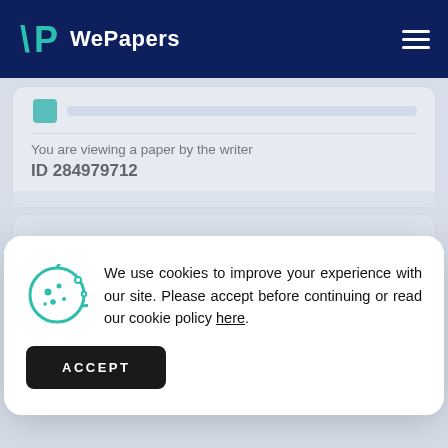WePapers
You are viewing a paper by the writer
ID 284979712
We use cookies to improve your experience with our site. Please accept before continuing or read our cookie policy here.
ACCEPT
HIRE THIS WRITER